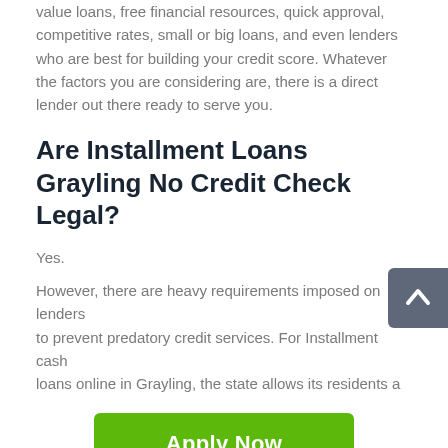value loans, free financial resources, quick approval, competitive rates, small or big loans, and even lenders who are best for building your credit score. Whatever the factors you are considering are, there is a direct lender out there ready to serve you.
Are Installment Loans Grayling No Credit Check Legal?
Yes.
However, there are heavy requirements imposed on lenders to prevent predatory credit services. For Installment cash loans online in Grayling, the state allows its residents a
Apply Now
Applying does NOT affect your credit score!
No credit check to apply.